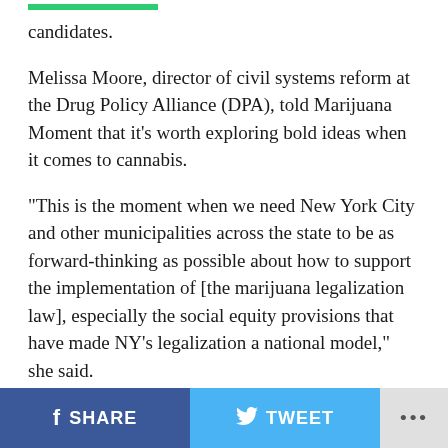candidates.
Melissa Moore, director of civil systems reform at the Drug Policy Alliance (DPA), told Marijuana Moment that it’s worth exploring bold ideas when it comes to cannabis.
“This is the moment when we need New York City and other municipalities across the state to be as forward-thinking as possible about how to support the implementation of [the marijuana legalization law], especially the social equity provisions that have made NY’s legalization a national model,” she said.
The full audio or video of the mayor’s remarks don’t appear to be publicly available at this point, so it’s possible there was additional context on the publicly